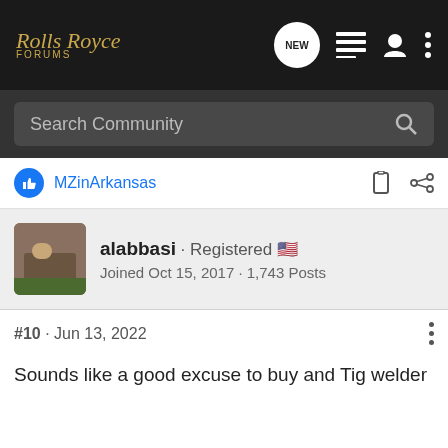Rolls Royce Forums
Search Community
MZinArkansas
alabbasi · Registered
Joined Oct 15, 2017 · 1,743 Posts
#10 · Jun 13, 2022
Sounds like a good excuse to buy and Tig welder